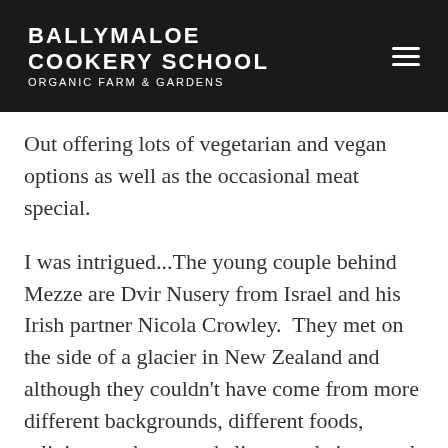BALLYMALOE COOKERY SCHOOL ORGANIC FARM & GARDENS
Out offering lots of vegetarian and vegan options as well as the occasional meat special.
I was intrigued...The young couple behind Mezze are Dvir Nusery from Israel and his Irish partner Nicola Crowley.  They met on the side of a glacier in New Zealand and although they couldn't have come from more different backgrounds, different foods, religions, cultures and climates, their mutual love of food, travel and passion to share their experiences with others created a bond.  They moved to Israel but after eight years, quit their